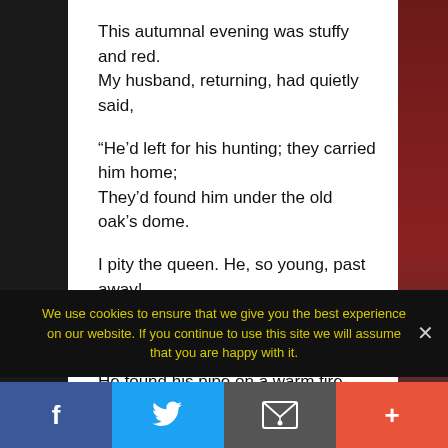This autumnal evening was stuffy and red.
My husband, returning, had quietly said,

“He’d left for his hunting; they carried him home;
They’d found him under the old oak’s dome.

I pity the queen. He, so young, past away!...
During one night her black hair turned to grey.”

He found his pipe on a warm fire-place,
And quietly left for his usual race.

Now my daughter will wake up and rise –
We use cookies to ensure that we give you the best experience on our website. If you continue to use this site we will assume that you are happy with it.
Social share bar: Facebook, Twitter, Email, +